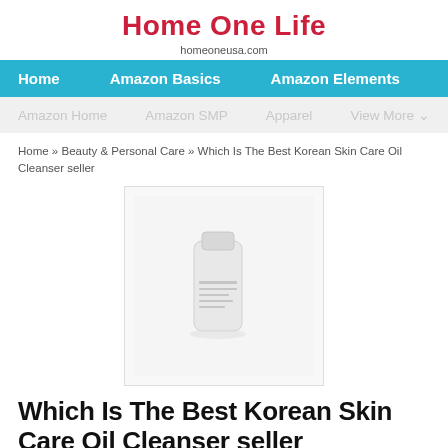Home One Life
homeoneusa.com
Home   Amazon Basics   Amazon Elements
Amazon Home   Amazon SMP   Apparel   View More
Home » Beauty & Personal Care » Which Is The Best Korean Skin Care Oil Cleanser seller
[Figure (photo): Product image of a Korean skin care oil cleanser in a white/cream tube on a white background]
Which Is The Best Korean Skin Care Oil Cleanser seller